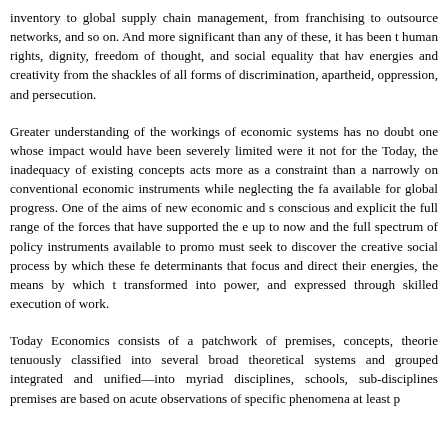inventory to global supply chain management, from franchising to outsource networks, and so on. And more significant than any of these, it has been the human rights, dignity, freedom of thought, and social equality that have energies and creativity from the shackles of all forms of discrimination, apartheid, oppression, and persecution.
Greater understanding of the workings of economic systems has no doubt one whose impact would have been severely limited were it not for these. Today, the inadequacy of existing concepts acts more as a constraint than a narrowly on conventional economic instruments while neglecting the fa available for global progress. One of the aims of new economic and s conscious and explicit the full range of the forces that have supported the e up to now and the full spectrum of policy instruments available to promo must seek to discover the creative social process by which these fe determinants that focus and direct their energies, the means by which t transformed into power, and expressed through skilled execution of work.
Today Economics consists of a patchwork of premises, concepts, theorie tenuously classified into several broad theoretical systems and grouped integrated and unified—into myriad disciplines, schools, sub-disciplines premises are based on acute observations of specific phenomena at least p